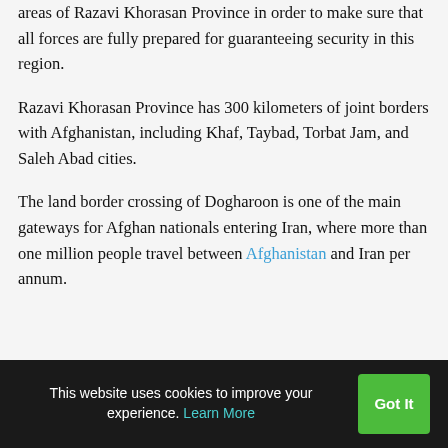areas of Razavi Khorasan Province in order to make sure that all forces are fully prepared for guaranteeing security in this region.
Razavi Khorasan Province has 300 kilometers of joint borders with Afghanistan, including Khaf, Taybad, Torbat Jam, and Saleh Abad cities.
The land border crossing of Dogharoon is one of the main gateways for Afghan nationals entering Iran, where more than one million people travel between Afghanistan and Iran per annum.
This website uses cookies to improve your experience. Learn More  Got It